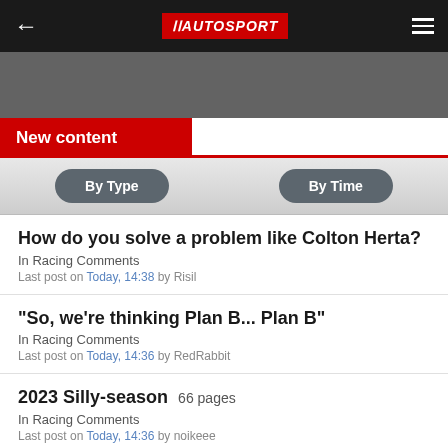AUTOSPORT
[Figure (screenshot): Gray advertisement banner area]
New content
By Type
By Time
How do you solve a problem like Colton Herta?
In Racing Comments
Last post on Today, 14:38 by Risil
"So, we're thinking Plan B... Plan B"
In Racing Comments
Last post on Today, 14:36 by RedRabbit
2023 Silly-season  66 pages
In Racing Comments
Last post on Today, 14:36 by noikeee
A little dilemma, just for fun...
In Racing Comments
Last post on Today, 14:29 by cpbell